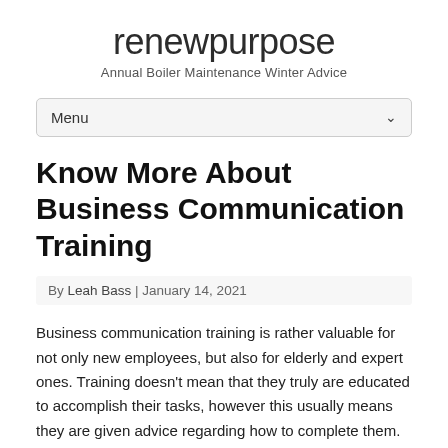renewpurpose
Annual Boiler Maintenance Winter Advice
Know More About Business Communication Training
By Leah Bass | January 14, 2021
Business communication training is rather valuable for not only new employees, but also for elderly and expert ones. Training doesn’t mean that they truly are educated to accomplish their tasks, however this usually means they are given advice regarding how to complete them.